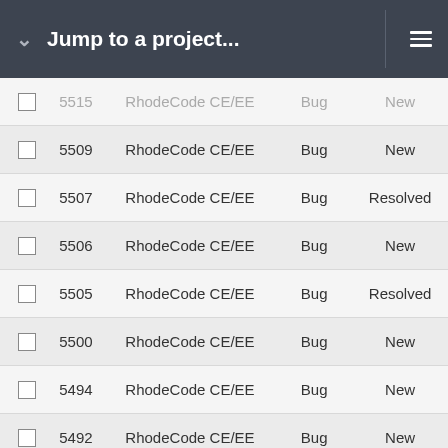Jump to a project...
|  | ID | Project | Type | Status |
| --- | --- | --- | --- | --- |
|  | 5509 | RhodeCode CE/EE | Bug | New |
|  | 5507 | RhodeCode CE/EE | Bug | Resolved |
|  | 5506 | RhodeCode CE/EE | Bug | New |
|  | 5505 | RhodeCode CE/EE | Bug | Resolved |
|  | 5500 | RhodeCode CE/EE | Bug | New |
|  | 5494 | RhodeCode CE/EE | Bug | New |
|  | 5492 | RhodeCode CE/EE | Bug | New |
|  | 5490 | RhodeCode CE/EE | Bug | Resolved |
|  | 5482 | RhodeCode CE/EE | Bug | Resolved |